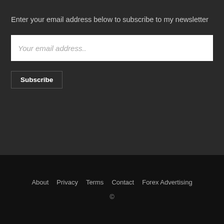Enter your email address below to subscribe to my newsletter
Your email address..
Subscribe
About   Privacy   Terms   Contact   Forex Advertising
©